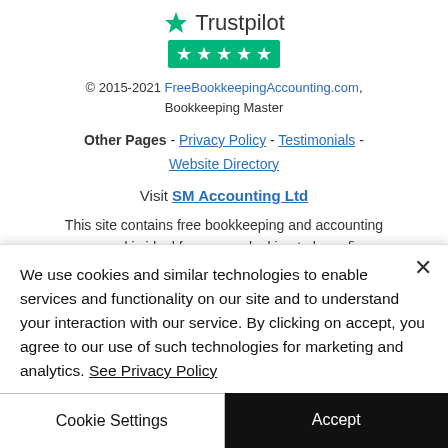[Figure (logo): Trustpilot logo with 5 green stars rating badge]
© 2015-2021 FreeBookkeepingAccounting.com, Bookkeeping Master
Other Pages - Privacy Policy - Testimonials - Website Directory
Visit SM Accounting Ltd
This site contains free bookkeeping and accounting courses and is ideal for anyone looking to learn finance, bookkeeping or accounting. This site contains information on double-entry bookkeeping, basic accounting,
We use cookies and similar technologies to enable services and functionality on our site and to understand your interaction with our service. By clicking on accept, you agree to our use of such technologies for marketing and analytics. See Privacy Policy
Cookie Settings
Accept